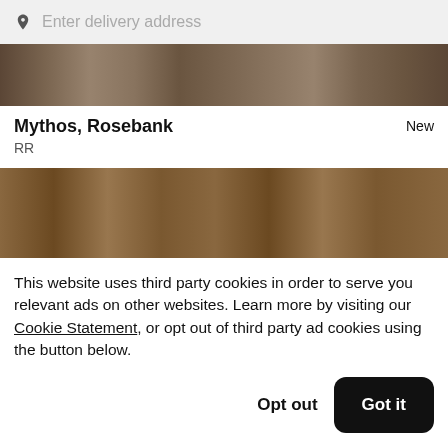Enter delivery address
[Figure (photo): Top portion of food photo showing various dishes from above, partially cropped]
Mythos, Rosebank
RR
New
[Figure (photo): Food photo showing various dishes, bread, and ingredients on a dark surface]
This website uses third party cookies in order to serve you relevant ads on other websites. Learn more by visiting our Cookie Statement, or opt out of third party ad cookies using the button below.
Opt out  Got it